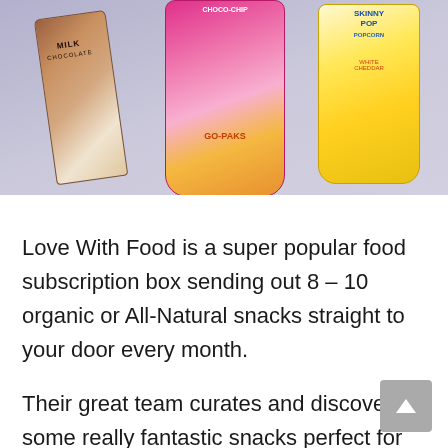[Figure (photo): Photo of snack products including a milk chocolate bar, a choco-chip popcorn bag (orange/pink), and a SkinnyPop white cheddar popcorn bag (yellow), arranged on a light purple background.]
Love With Food is a super popular food subscription box sending out 8 – 10 organic or All-Natural snacks straight to your door every month.
Their great team curates and discovers some really fantastic snacks perfect for school, work, or on the go.
All snacks are made with real ingredients